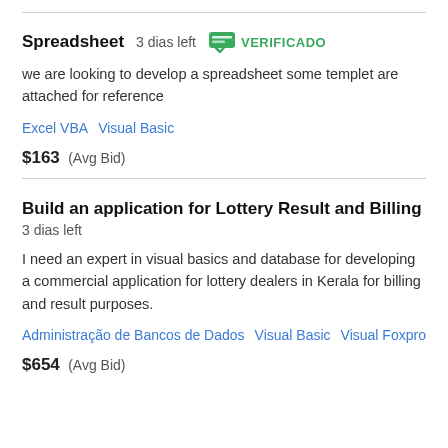Spreadsheet  3 dias left  VERIFICADO
we are looking to develop a spreadsheet some templet are attached for reference
Excel VBA   Visual Basic
$163  (Avg Bid)
Build an application for Lottery Result and Billing
3 dias left
I need an expert in visual basics and database for developing a commercial application for lottery dealers in Kerala for billing and result purposes.
Administração de Bancos de Dados   Visual Basic   Visual Foxpro
$654  (Avg Bid)